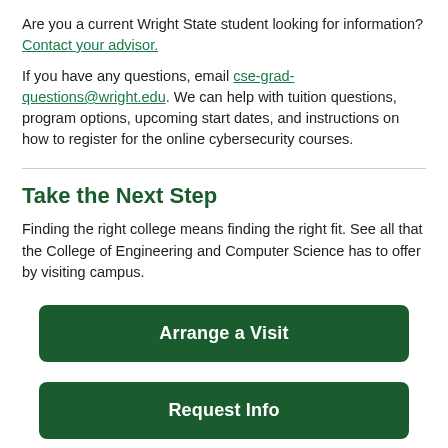Are you a current Wright State student looking for information? Contact your advisor.
If you have any questions, email cse-grad-questions@wright.edu. We can help with tuition questions, program options, upcoming start dates, and instructions on how to register for the online cybersecurity courses.
Take the Next Step
Finding the right college means finding the right fit. See all that the College of Engineering and Computer Science has to offer by visiting campus.
Arrange a Visit
Request Info